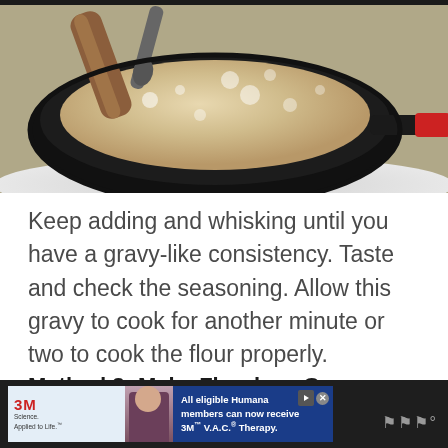[Figure (photo): A cast iron skillet on a stovetop with a wood-handled tool and a spoon, containing a bubbling creamy gravy mixture being whisked]
Keep adding and whisking until you have a gravy-like consistency. Taste and check the seasoning. Allow this gravy to cook for another minute or two to cook the flour properly.
Method 3: Make Flourless Gravy
[Figure (screenshot): Advertisement banner: 3M Science Applied to Life logo with a person in scrubs, blue background with text 'All eligible Humana members can now receive 3M™ V.A.C.® Therapy.' with play and close buttons]